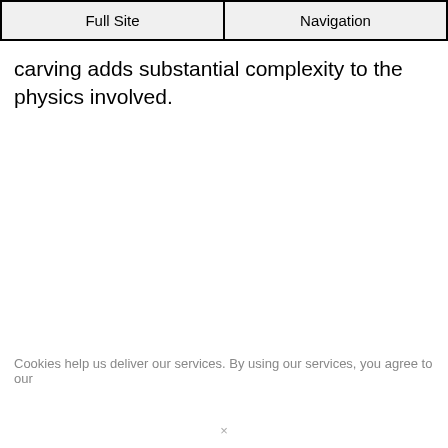Full Site | Navigation
carving adds substantial complexity to the physics involved.
Cookies help us deliver our services. By using our services, you agree to our